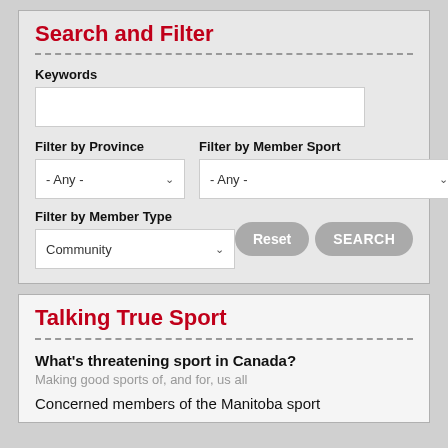Search and Filter
Keywords
Filter by Province
Filter by Member Sport
- Any -
- Any -
Filter by Member Type
Community
Reset
SEARCH
Talking True Sport
What's threatening sport in Canada?
Making good sports of, and for, us all
Concerned members of the Manitoba sport